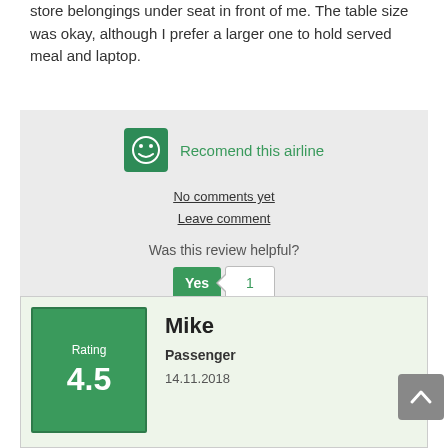store belongings under seat in front of me. The table size was okay, although I prefer a larger one to hold served meal and laptop.
[Figure (other): Smiley face icon in green box next to 'Recomend this airline' text]
Recomend this airline
No comments yet
Leave comment
Was this review helpful?
Yes 1
No 0
Mike
Rating
4.5
Passenger
14.11.2018